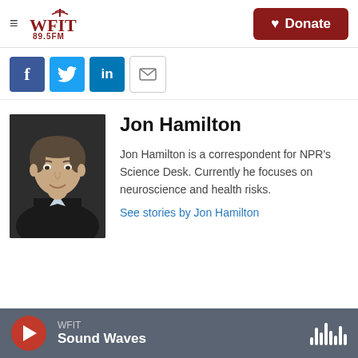WFIT 89.5FM | Donate
[Figure (infographic): Social sharing icons: Facebook (blue), Twitter (blue), LinkedIn (blue), Email (outlined)]
[Figure (photo): Headshot of Jon Hamilton, a man in a dark blazer smiling, against a dark grey background]
Jon Hamilton
Jon Hamilton is a correspondent for NPR's Science Desk. Currently he focuses on neuroscience and health risks.
See stories by Jon Hamilton
WFIT | Sound Waves